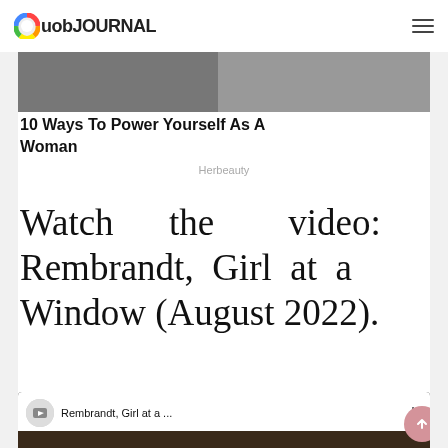uob JOURNAL
[Figure (screenshot): Partial image of article thumbnail for '10 Ways To Power Yourself As A Woman']
10 Ways To Power Yourself As A Woman
Herbeauty
Watch the video: Rembrandt, Girl at a Window (August 2022).
[Figure (screenshot): Embedded YouTube video thumbnail showing 'Rembrandt, Girl at a ...' with red play button]